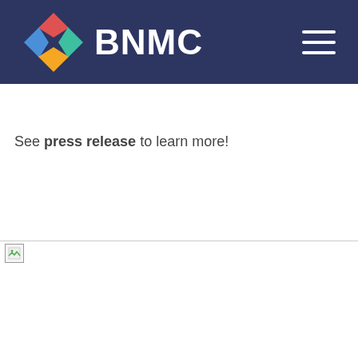BNMC
See press release to learn more!
[Figure (photo): Broken image placeholder with a small icon at the top-left corner and a horizontal border line above]